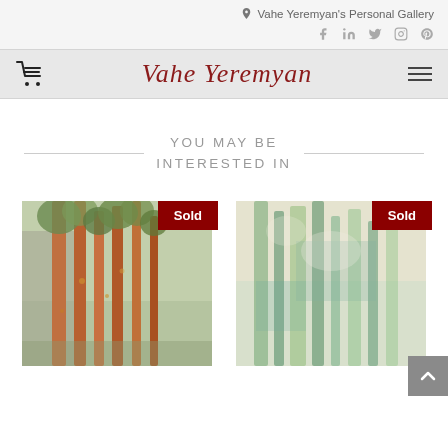Vahe Yeremyan's Personal Gallery
Vahe Yeremyan
YOU MAY BE INTERESTED IN
[Figure (photo): Painting of tall birch trees with warm brown/orange tones against a muted green background, marked Sold]
[Figure (photo): Abstract painting with green vertical elements on a light background, marked Sold]